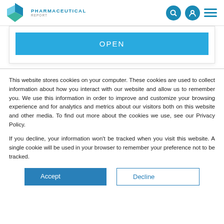PHARMACEUTICAL REPORT
[Figure (other): Blue OPEN button inside a white card with border]
This website stores cookies on your computer. These cookies are used to collect information about how you interact with our website and allow us to remember you. We use this information in order to improve and customize your browsing experience and for analytics and metrics about our visitors both on this website and other media. To find out more about the cookies we use, see our Privacy Policy.
If you decline, your information won't be tracked when you visit this website. A single cookie will be used in your browser to remember your preference not to be tracked.
Accept  Decline